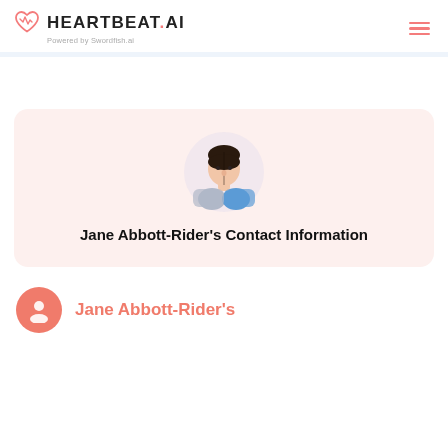HEARTBEAT.AI Powered by Swordfish.ai
[Figure (illustration): Heartbeat.AI logo with pink heart icon and hamburger menu icon in top right]
[Figure (illustration): Gender-split avatar illustration (half female, half male) inside a pink-tinted card]
Jane Abbott-Rider's Contact Information
[Figure (illustration): Pink circle with white person/contact icon on the bottom left]
Jane Abbott-Rider's